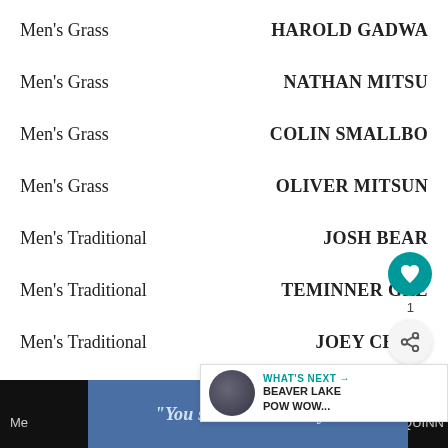Men's Grass   HAROLD GADWA
Men's Grass   NATHAN MITSU
Men's Grass   COLIN SMALLBO
Men's Grass   OLIVER MITSUN
Men's Traditional   JOSH BEAR
Men's Traditional   TEMINNER GRE
Men's Traditional   JOEY CHIEF
WHAT'S NEXT → BEAVER LAKE POW WOW...
"You seem down lately."
Me  QUINN